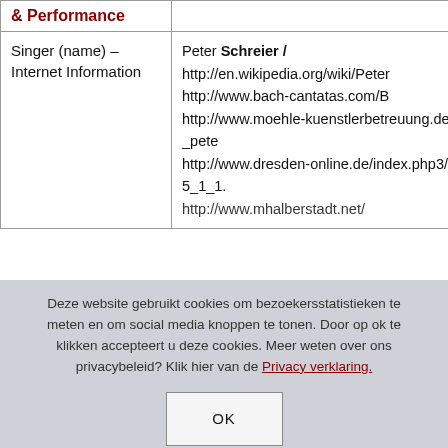| & Performance |  |
| --- | --- |
| Singer (name) – Internet Information | Peter Schreier / http://en.wikipedia.org/wiki/Peter http://www.bach-cantatas.com/B http://www.moehle-kuenstlerbetreuung.de/prof_pete http://www.dresden-online.de/index.php3/2085_1_1. http://www.mhalberstadt.net/ |
Deze website gebruikt cookies om bezoekersstatistieken te meten en om social media knoppen te tonen. Door op ok te klikken accepteert u deze cookies. Meer weten over ons privacybeleid? Klik hier van de Privacy verklaring.